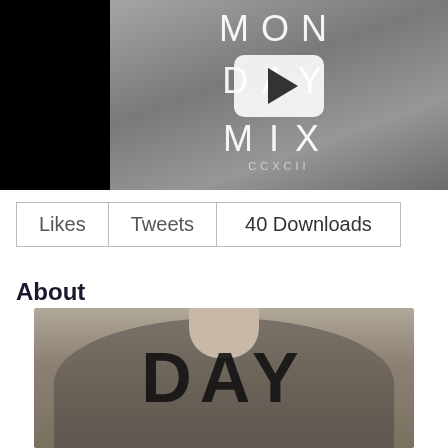[Figure (screenshot): Video thumbnail showing 'MONDAY MIX' text overlay on a black and white photo of people, with a play button in the center. Left portion is black.]
[Figure (other): Three buttons in a row: 'Likes', 'Tweets', '40 Downloads']
About
[Figure (photo): Photo of a person wearing a gray hoodie with large 'DAY' text overlaid, cropped at the top (no face visible).]